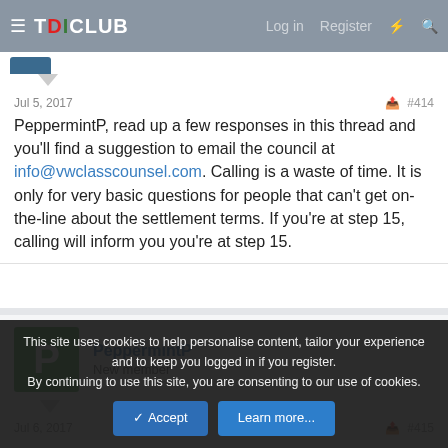TDICLUB — Log in  Register
Jul 5, 2017  #414
PeppermintP, read up a few responses in this thread and you'll find a suggestion to email the council at info@vwclasscounsel.com. Calling is a waste of time. It is only for very basic questions for people that can't get on-the-line about the settlement terms. If you're at step 15, calling will inform you you're at step 15.
PeppermintP
New member
Jul 6, 2017  #415
This site uses cookies to help personalise content, tailor your experience and to keep you logged in if you register.
By continuing to use this site, you are consenting to our use of cookies.